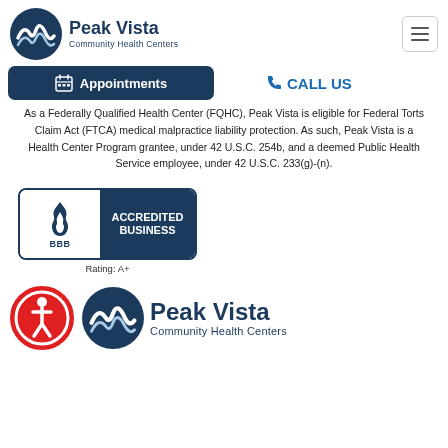[Figure (logo): Peak Vista Community Health Centers logo with mountain/wave icon and dark blue text]
[Figure (other): Hamburger menu button (three horizontal lines in a rounded rectangle border)]
[Figure (other): Dark navy Appointments button with calendar icon]
CALL US
As a Federally Qualified Health Center (FQHC), Peak Vista is eligible for Federal Torts Claim Act (FTCA) medical malpractice liability protection. As such, Peak Vista is a Health Center Program grantee, under 42 U.S.C. 254b, and a deemed Public Health Service employee, under 42 U.S.C. 233(g)-(n).
[Figure (logo): BBB Accredited Business badge with Rating: A+]
[Figure (logo): Accessibility icon (red circle with person figure) alongside Peak Vista Community Health Centers logo]